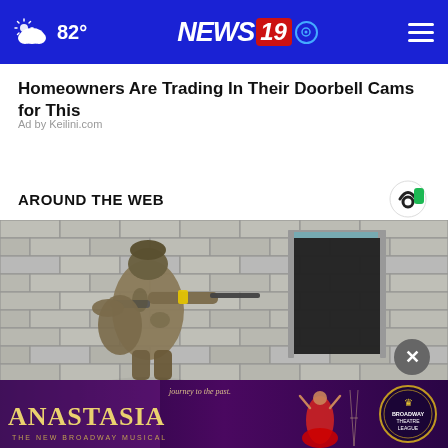NEWS19 — 82° navigation bar
Homeowners Are Trading In Their Doorbell Cams for This
Ad by Keilini.com
AROUND THE WEB
[Figure (photo): Soldier in military gear aiming a weapon toward a doorway in a brick building]
[Figure (photo): Anastasia The New Broadway Musical advertisement banner — Journey to the past — Broadway Theatre League]